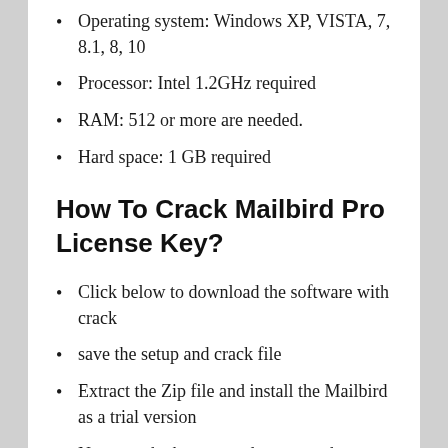Operating system: Windows XP, VISTA, 7, 8.1, 8, 10
Processor: Intel 1.2GHz required
RAM: 512 or more are needed.
Hard space: 1 GB required
How To Crack Mailbird Pro License Key?
Click below to download the software with crack
save the setup and crack file
Extract the Zip file and install the Mailbird as a trial version
Now run the keygen and generate the license key to upgrade the Mailbird pro
Put the license key and click on the activate